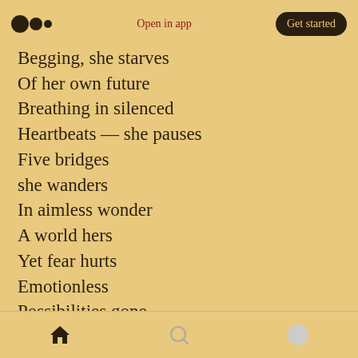Medium logo | Open in app | Get started
Begging, she starves
Of her own future
Breathing in silenced
Heartbeats — she pauses
Five bridges
she wanders
In aimless wonder
A world hers
Yet fear hurts
Emotionless
Possibilities gone
Days go into weeks
Weeks into months...
Home | Search | Profile